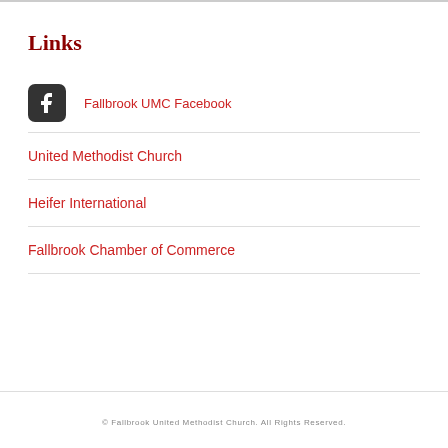Links
Fallbrook UMC Facebook
United Methodist Church
Heifer International
Fallbrook Chamber of Commerce
© Fallbrook United Methodist Church. All Rights Reserved.